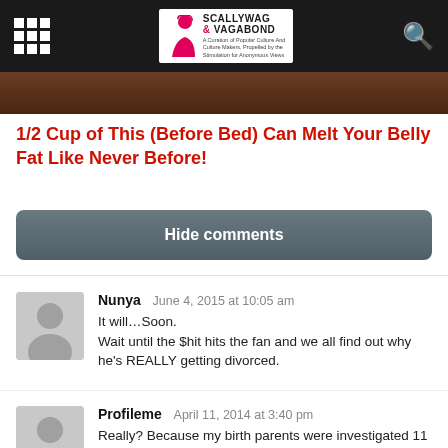Scallywag & Vagabond
[Figure (photo): Partial hero image showing a dark background with brownish texture, cropped at top of article]
1/2 Cup of This (Before Bed) Can Melt Your Belly Fat Like Never Before!
Hide comments
Nunya   June 4, 2015 at 10:05 am
It will…Soon.
Wait until the $hit hits the fan and we all find out why he's REALLY getting divorced.
Profileme   April 11, 2014 at 3:40 pm
Really? Because my birth parents were investigated 11